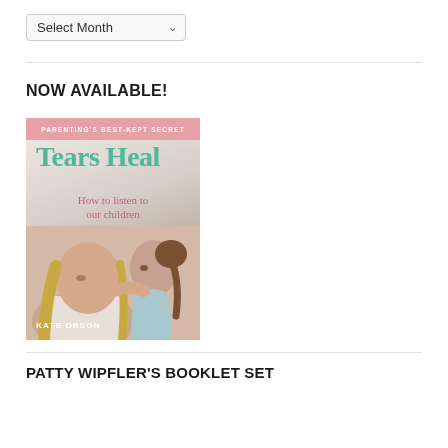Select Month
NOW AVAILABLE!
[Figure (illustration): Book cover of 'Tears Heal: How to listen to our children' by Kate Orson. Pink banner at top reads 'PARENTING'S BEST-KEPT SECRET'. Title in teal/green serif font. Subtitle in pink. Cover photo shows a mother and young child facing each other closely.]
PATTY WIPFLER'S BOOKLET SET